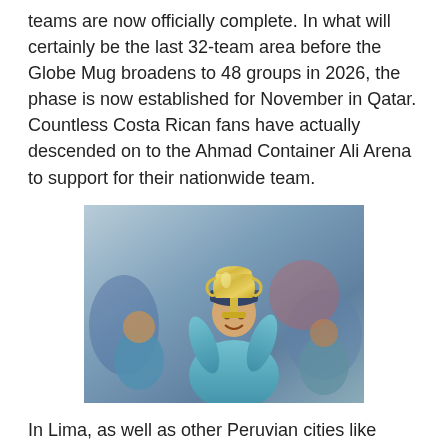teams are now officially complete. In what will certainly be the last 32-team area before the Globe Mug broadens to 48 groups in 2026, the phase is now established for November in Qatar. Countless Costa Rican fans have actually descended on to the Ahmad Container Ali Arena to support for their nationwide team.
[Figure (photo): A smiling man holding up a large silver trophy (cricket World Cup style) with other people visible in the background. The scene appears to be at a sporting event.]
In Lima, as well as other Peruvian cities like Cuzco, countless fans had actually aligned the roads to see their team compete, a job simplified by the government which had stated a legal holiday on Monday. As first came close to on Monday, it